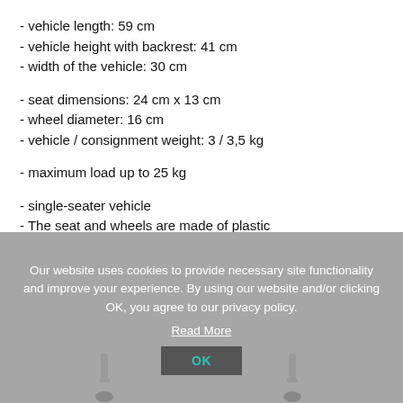- vehicle length: 59 cm
- vehicle height with backrest: 41 cm
- width of the vehicle: 30 cm
- seat dimensions: 24 cm x 13 cm
- wheel diameter: 16 cm
- vehicle / consignment weight: 3 / 3,5 kg
- maximum load up to 25 kg
- single-seater vehicle
- The seat and wheels are made of plastic
- packaging: colored cardboard
NB! Batteries not included.
Our website uses cookies to provide necessary site functionality and improve your experience. By using our website and/or clicking OK, you agree to our privacy policy.
Read More
OK